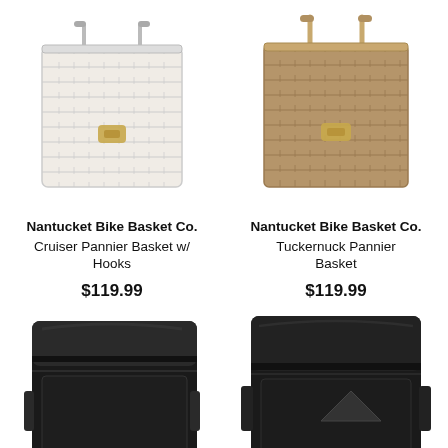[Figure (photo): White wicker pannier bike basket with gold clasp and metal handle]
Nantucket Bike Basket Co. Cruiser Pannier Basket w/ Hooks
$119.99
[Figure (photo): Brown/tan wicker pannier bike basket with gold clasp and bamboo handle]
Nantucket Bike Basket Co. Tuckernuck Pannier Basket
$119.99
[Figure (photo): Black waterproof roll-top pannier bag]
[Figure (photo): Black waterproof roll-top pannier bag, partially cropped]